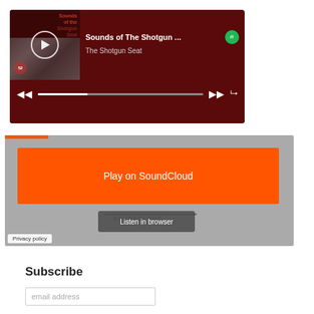[Figure (screenshot): Spotify podcast player showing 'Sounds of The Shotgun ...' by The Shotgun Seat with album art, play button, progress bar, and Spotify logo]
[Figure (screenshot): SoundCloud embedded widget with orange 'Play on SoundCloud' button, 'Listen in browser' button, SoundCloud logo/waveform, and Privacy policy link]
Subscribe
email address